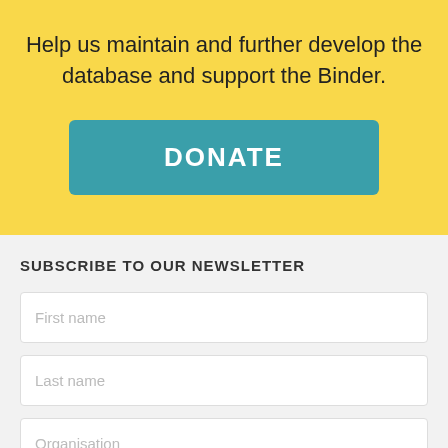Help us maintain and further develop the database and support the Binder.
[Figure (other): Teal DONATE button]
SUBSCRIBE TO OUR NEWSLETTER
First name
Last name
Organisation